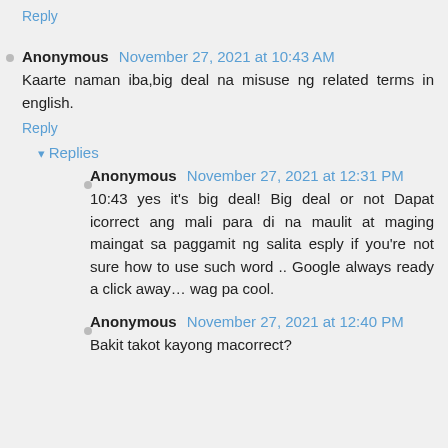Reply
Anonymous November 27, 2021 at 10:43 AM
Kaarte naman iba,big deal na misuse ng related terms in english.
Reply
Replies
Anonymous November 27, 2021 at 12:31 PM
10:43 yes it's big deal! Big deal or not Dapat icorrect ang mali para di na maulit at maging maingat sa paggamit ng salita esply if you're not sure how to use such word .. Google always ready a click away… wag pa cool.
Anonymous November 27, 2021 at 12:40 PM
Bakit takot kayong macorrect?